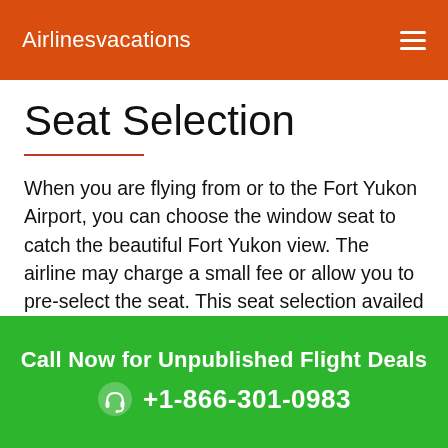Airlinesvacations
Seat Selection
When you are flying from or to the Fort Yukon Airport, you can choose the window seat to catch the beautiful Fort Yukon view. The airline may charge a small fee or allow you to pre-select the seat. This seat selection availed during web check-in at Fort Yukon Airport. You may ask the airline desk to select a window seat, but airline can do when window seats are available.
Call Now for Unpublished Flight Deals
+1-866-301-0983